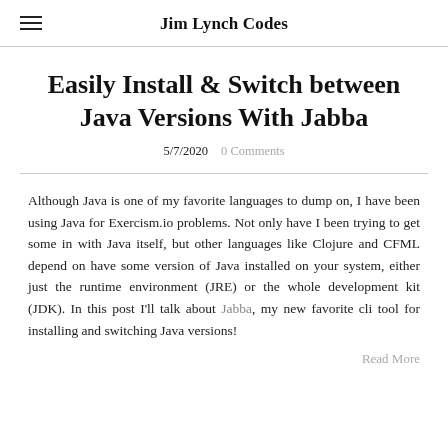Jim Lynch Codes
Easily Install & Switch between Java Versions With Jabba
5/7/2020   0 Comments
Although Java is one of my favorite languages to dump on, I have been using Java for Exercism.io problems. Not only have I been trying to get some in with Java itself, but other languages like Clojure and CFML depend on have some version of Java installed on your system, either just the runtime environment (JRE) or the whole development kit (JDK). In this post I'll talk about Jabba, my new favorite cli tool for installing and switching Java versions!
Read More